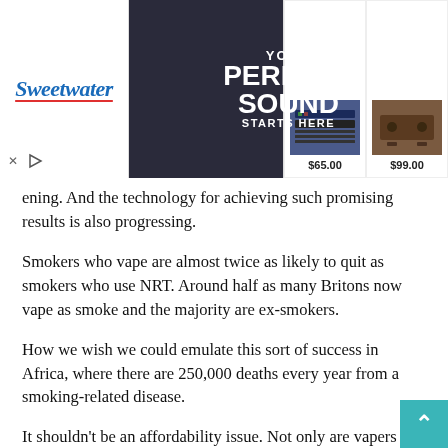[Figure (screenshot): Sweetwater audio equipment advertisement banner with 'YOUR PERFECT SOUND STARTS HERE' headline, showing a musician with guitar, keyboard ($65.00) and audio equipment ($99.00) product images]
ening. And the technology for achieving such promising results is also progressing.
Smokers who vape are almost twice as likely to quit as smokers who use NRT. Around half as many Britons now vape as smoke and the majority are ex-smokers.
How we wish we could emulate this sort of success in Africa, where there are 250,000 deaths every year from a smoking-related disease.
It shouldn't be an affordability issue. Not only are vapers and nicotine pouches effective, but they also cost the government nothing while helping to reduce the disease